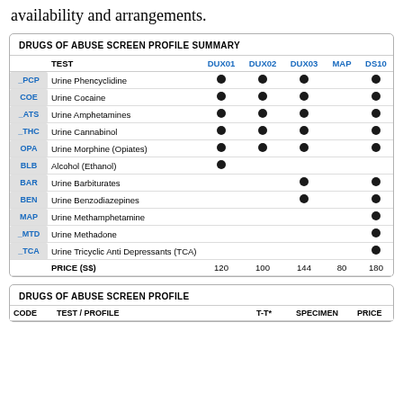availability and arrangements.
DRUGS OF ABUSE SCREEN PROFILE SUMMARY
|  | TEST | DUX01 | DUX02 | DUX03 | MAP | DS10 |
| --- | --- | --- | --- | --- | --- | --- |
| _PCP | Urine Phencyclidine | ● | ● | ● |  | ● |
| COE | Urine Cocaine | ● | ● | ● |  | ● |
| _ATS | Urine Amphetamines | ● | ● | ● |  | ● |
| _THC | Urine Cannabinol | ● | ● | ● |  | ● |
| OPA | Urine Morphine (Opiates) | ● | ● | ● |  | ● |
| BLB | Alcohol (Ethanol) | ● |  |  |  |  |
| BAR | Urine Barbiturates |  |  | ● |  | ● |
| BEN | Urine Benzodiazepines |  |  | ● |  | ● |
| MAP | Urine Methamphetamine |  |  |  |  | ● |
| _MTD | Urine Methadone |  |  |  |  | ● |
| _TCA | Urine Tricyclic Anti Depressants (TCA) |  |  |  |  | ● |
|  | PRICE (S$) | 120 | 100 | 144 | 80 | 180 |
DRUGS OF ABUSE SCREEN PROFILE
| CODE | TEST / PROFILE |  | T-T* | SPECIMEN | PRICE |
| --- | --- | --- | --- | --- | --- |